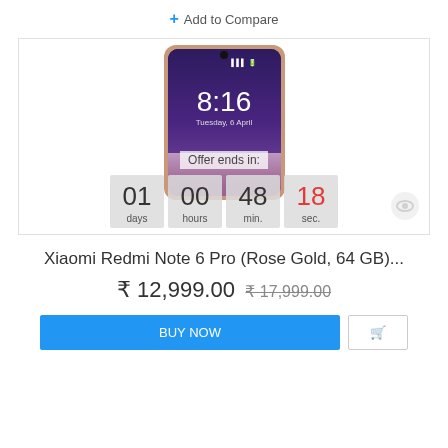+ Add to Compare
[Figure (photo): Xiaomi Redmi Note 6 Pro smartphone in Rose Gold color displayed with a lockscreen showing time 8:16, Tuesday 6 April. Below the phone is a countdown timer overlay showing: Offer ends in: 01 days, 00 hours, 48 min., 18 sec.]
Xiaomi Redmi Note 6 Pro (Rose Gold, 64 GB)...
₹ 12,999.00 ₹ 17,999.00